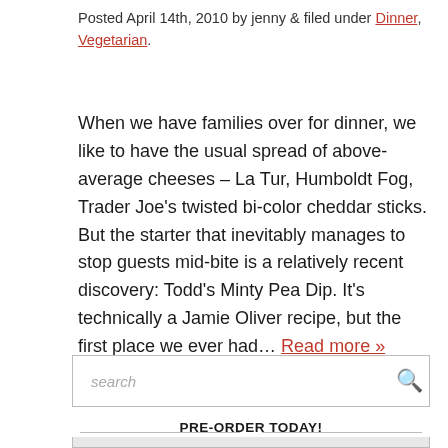Posted April 14th, 2010 by jenny & filed under Dinner, Vegetarian.
When we have families over for dinner, we like to have the usual spread of above-average cheeses – La Tur, Humboldt Fog, Trader Joe's twisted bi-color cheddar sticks. But the starter that inevitably manages to stop guests mid-bite is a relatively recent discovery: Todd's Minty Pea Dip. It's technically a Jamie Oliver recipe, but the first place we ever had... Read more »
search
PRE-ORDER TODAY!